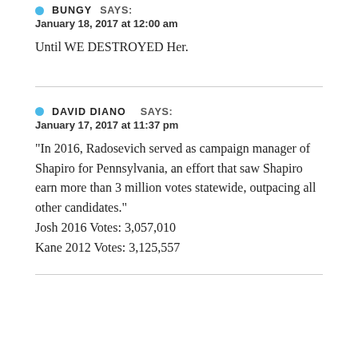BUNGY  SAYS:
January 18, 2017 at 12:00 am
Until WE DESTROYED Her.
DAVID DIANO  SAYS:
January 17, 2017 at 11:37 pm
“In 2016, Radosevich served as campaign manager of Shapiro for Pennsylvania, an effort that saw Shapiro earn more than 3 million votes statewide, outpacing all other candidates.”
Josh 2016 Votes: 3,057,010
Kane 2012 Votes: 3,125,557